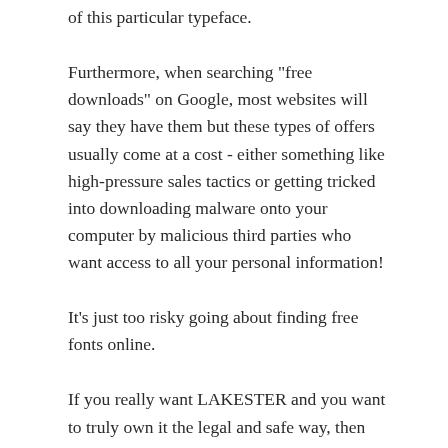of this particular typeface.
Furthermore, when searching "free downloads" on Google, most websites will say they have them but these types of offers usually come at a cost - either something like high-pressure sales tactics or getting tricked into downloading malware onto your computer by malicious third parties who want access to all your personal information!
It's just too risky going about finding free fonts online.
If you really want LAKESTER and you want to truly own it the legal and safe way, then click here to visit the download and purchase page on MyFonts.com. Here you will be able to obtain the proper license,